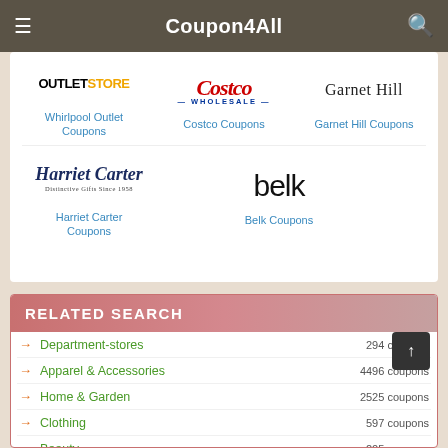Coupon4All
[Figure (logo): Whirlpool Outlet Store logo]
Whirlpool Outlet Coupons
[Figure (logo): Costco Wholesale logo]
Costco Coupons
[Figure (logo): Garnet Hill logo]
Garnet Hill Coupons
[Figure (logo): Harriet Carter Distinctive Gifts Since 1958 logo]
Harriet Carter Coupons
[Figure (logo): belk logo]
Belk Coupons
RELATED SEARCH
Department-stores  294 coupons
Apparel & Accessories  4496 coupons
Home & Garden  2525 coupons
Clothing  597 coupons
Beauty  205 coupons
Cooking  35 coupons
Baby & Nursery  115 coupons
Kids & Baby  290 coupons
Travel  799 coupons